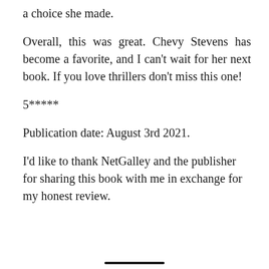a choice she made.
Overall, this was great. Chevy Stevens has become a favorite, and I can't wait for her next book. If you love thrillers don't miss this one!
5*****
Publication date: August 3rd 2021.
I'd like to thank NetGalley and the publisher for sharing this book with me in exchange for my honest review.